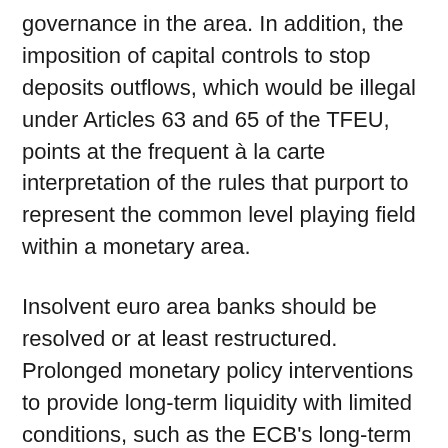governance in the area. In addition, the imposition of capital controls to stop deposits outflows, which would be illegal under Articles 63 and 65 of the TFEU, points at the frequent à la carte interpretation of the rules that purport to represent the common level playing field within a monetary area.
Insolvent euro area banks should be resolved or at least restructured. Prolonged monetary policy interventions to provide long-term liquidity with limited conditions, such as the ECB's long-term refinancing operations, have so far only postponed problems and increased the potential costs for the liquidation or restructuring of several zombie banks, which have used this liquidity to